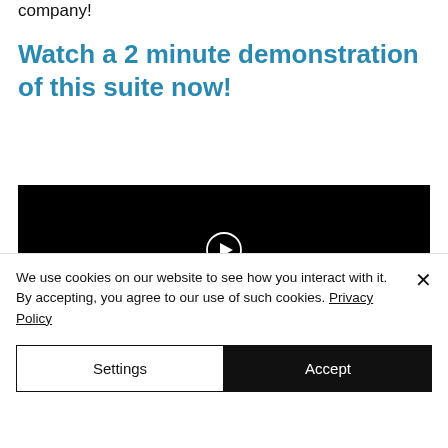company!
Watch a 2 minute demonstration of this suite now!
[Figure (other): Black video player thumbnail with a circular white play button in the center]
We use cookies on our website to see how you interact with it. By accepting, you agree to our use of such cookies. Privacy Policy
Settings
Accept